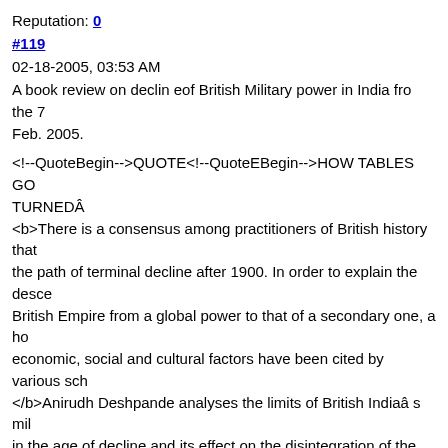Reputation: 0
#119
02-18-2005, 03:53 AM
A book review on declin eof British Military power in India fro the 7 Feb. 2005.
<!--QuoteBegin-->QUOTE<!--QuoteEBegin-->HOW TABLES GO TURNEDÂ <b>There is a consensus among practitioners of British history that the path of terminal decline after 1900. In order to explain the desce British Empire from a global power to that of a secondary one, a ho economic, social and cultural factors have been cited by various sch </b>Anirudh Deshpande analyses the limits of British Indiaâs mil in the age of decline and its effect on the disintegration of the coloni book is actually a revised version of his doctoral thesis.
<b>Deshpande claims that the roots of British imperial decline coul back to the late 19th century.</b> World War I exposed to the world British power. Brian Bond has shown how the economic decline of reduced its military power in the continent. <b>Deshpande says tha armed forces remained backward because Delhi could not get any fi support from London. Though 35 per cent of the rajâs revenue wa the armed forces, the military budget was still inadequate for capita </b>